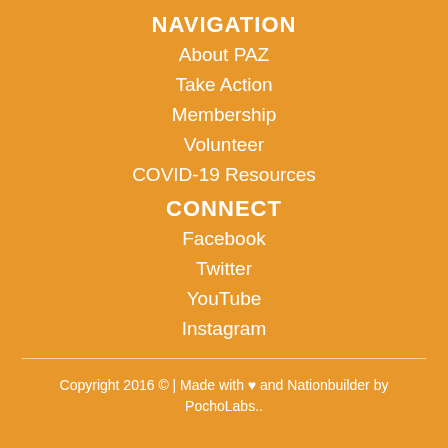NAVIGATION
About PAZ
Take Action
Membership
Volunteer
COVID-19 Resources
CONNECT
Facebook
Twitter
YouTube
Instagram
Copyright 2016 © | Made with ♥ and Nationbuilder by PochoLabs..